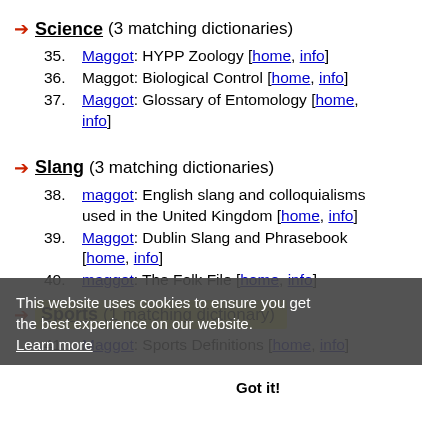Science (3 matching dictionaries)
35. Maggot: HYPP Zoology [home, info]
36. Maggot: Biological Control [home, info]
37. Maggot: Glossary of Entomology [home, info]
Slang (3 matching dictionaries)
38. maggot: English slang and colloquialisms used in the United Kingdom [home, info]
39. Maggot: Dublin Slang and Phrasebook [home, info]
40. maggot: The Folk File [home, info]
Sports (1 matching dictionary)
41. Maggot: Sports Definitions [home, info]